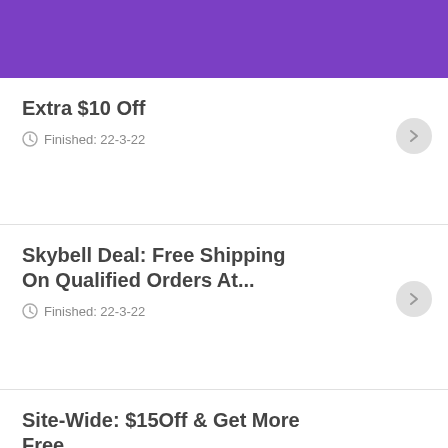[Figure (screenshot): Purple header banner at top of page]
Extra $10 Off
Finished: 22-3-22
Skybell Deal: Free Shipping On Qualified Orders At...
Finished: 22-3-22
Site-Wide: $15Off & Get More Free
Finished: 22-3-22